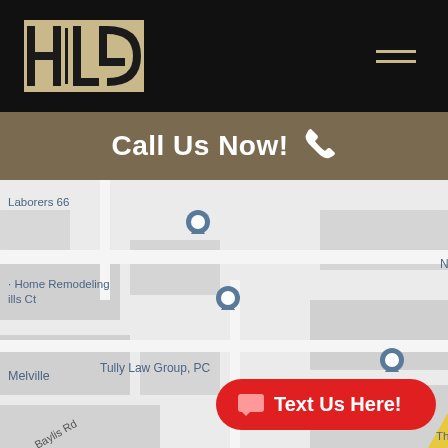[Figure (logo): HLG law firm logo in tan/gold box on black header background]
Call Us Now! 📞
[Figure (map): Google Maps screenshot showing Broadhollow Rd area in Melville, NY with pins for Tully Law Group PC, Northville Industries, Slater Slater Schulman LLP, Citizens Bank, United Mortgage Corp, Laborers 66]
[Figure (other): Text Us Here! red button with chat icon at bottom right of map]